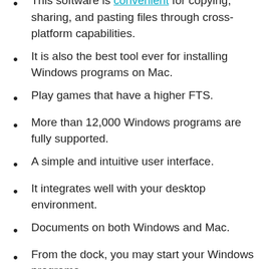This software is convenient for copying, sharing, and pasting files through cross-platform capabilities.
It is also the best tool ever for installing Windows programs on Mac.
Play games that have a higher FTS.
More than 12,000 Windows programs are fully supported.
A simple and intuitive user interface.
It integrates well with your desktop environment.
Documents on both Windows and Mac.
From the dock, you may start your Windows programs.
Your Windows programs run as though they